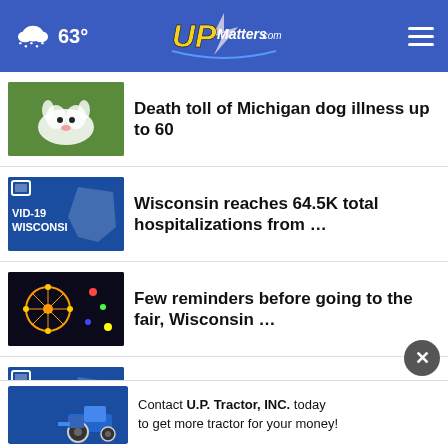63° UPMatters.com
Death toll of Michigan dog illness up to 60
Wisconsin reaches 64.5K total hospitalizations from …
Few reminders before going to the fair, Wisconsin …
13.3K Wisconsinites have died from COVID-19
GOP asks judge to toss lawsuit challenging Wisconsin's …
Contact U.P. Tractor, INC. today to get more tractor for your money!